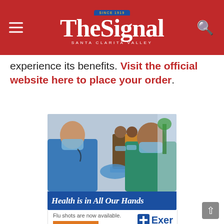The Signal — Santa Clarita Valley
experience its benefits. Visit the official website here to place your order.
[Figure (photo): A healthcare worker in blue scrubs and mask administering a vaccine or injection to a young girl wearing a teal shirt and mask; people sitting in waiting area visible in background. Blue banner text: 'Health is in All Our Hands']
Flu shots are now available.
LEARN MORE
[Figure (logo): Exer Urgent Care logo with blue cross icon]